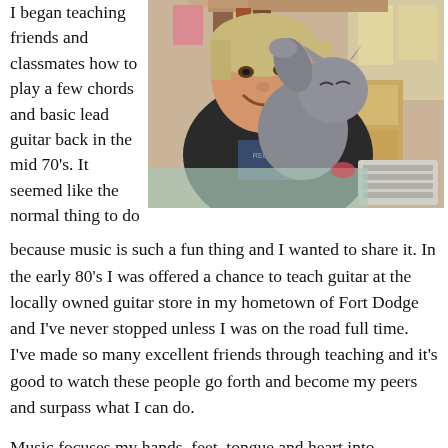I began teaching friends and classmates how to play a few chords and basic lead guitar back in the mid 70's. It seemed like the normal thing to do
[Figure (photo): A smiling middle-aged person wearing a dark jacket and a Record t-shirt, holding a grey cat at a desk with a keyboard visible, bookshelves in background.]
because music is such a fun thing and I wanted to share it. In the early 80's I was offered a chance to teach guitar at the locally owned guitar store in my hometown of Fort Dodge and I've never stopped unless I was on the road full time. I've made so many excellent friends through teaching and it's good to watch these people go forth and become my peers and surpass what I can do.
Music focuses my hands, feet, tongue and heart into